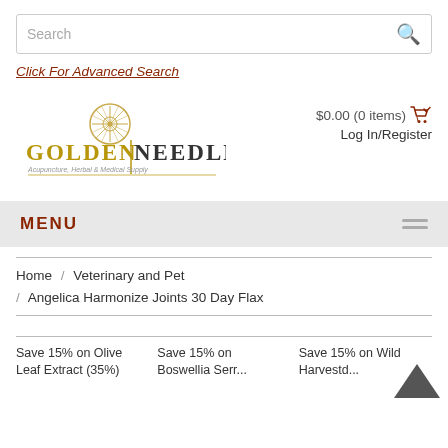Search bar
Click For Advanced Search
[Figure (logo): Golden Needle Acupuncture, Herbal & Medical Supply logo with sun/compass graphic]
$0.00 (0 items)
Log In/Register
MENU
Home / Veterinary and Pet / Angelica Harmonize Joints 30 Day Flax
Save 20% on Olive Leaf Extract (35%)
Save 15% on Boswellia Serr...
Save 15% on Wild Harvestd...